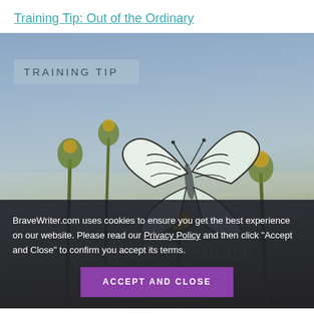Training Tip: Out of the Ordinary
[Figure (photo): A white butterfly with black-striped wings perched on a yellow flower bud, with a soft blue-grey sky background and blurred green flower buds. A semi-transparent banner reads 'TRAINING TIP' and italic watermark text 'Out of the Ordinary' is visible at the bottom.]
BraveWriter.com uses cookies to ensure you get the best experience on our website. Please read our Privacy Policy and then click “Accept and Close” to confirm you accept its terms.
ACCEPT AND CLOSE